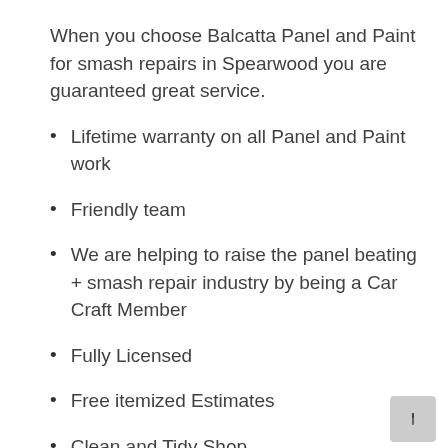When you choose Balcatta Panel and Paint for smash repairs in Spearwood you are guaranteed great service.
Lifetime warranty on all Panel and Paint work
Friendly team
We are helping to raise the panel beating + smash repair industry by being a Car Craft Member
Fully Licensed
Free itemized Estimates
Clean and Tidy Shop